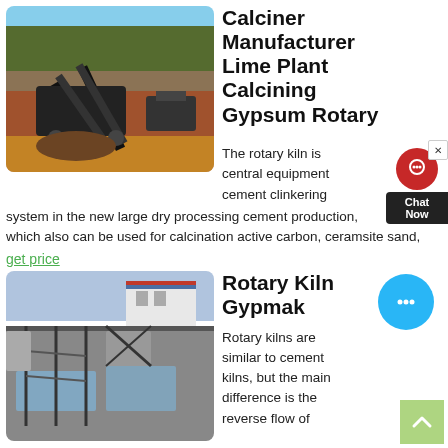[Figure (photo): Industrial mining/crushing equipment on a red earth construction site with trees and hillside in background]
Calciner Manufacturer Lime Plant Calcining Gypsum Rotary
The rotary kiln is central equipment cement clinkering system in the new large dry processing cement production, which also can be used for calcination active carbon, ceramsite sand,
get price
[Figure (photo): Aerial view of industrial processing plant with buildings, machinery and water pools]
Rotary Kiln Gypmak
Rotary kilns are similar to cement kilns, but the main difference is the reverse flow of